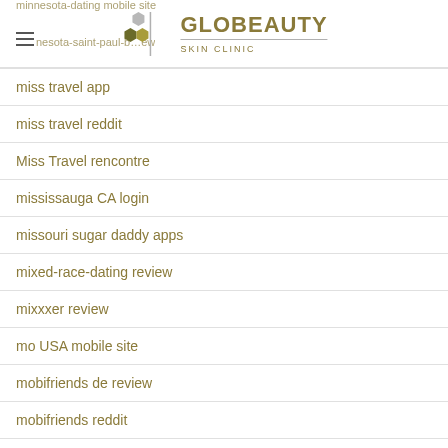Globeauty Skin Clinic
miss travel app
miss travel reddit
Miss Travel rencontre
mississauga CA login
missouri sugar daddy apps
mixed-race-dating review
mixxxer review
mo USA mobile site
mobifriends de review
mobifriends reddit
mobile escort near me